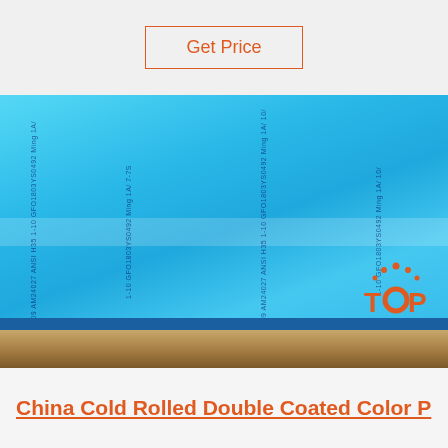Get Price
[Figure (photo): Blue protective film sheets stacked, with text markings including 'ASTM B209 AM24027 ANSI H35' and 'GFO1803YS0492 Ming 1A/' printed on the surface. A 'TOP' orange logo is visible in the lower right corner. Brown wooden surface visible beneath.]
China Cold Rolled Double Coated Color P